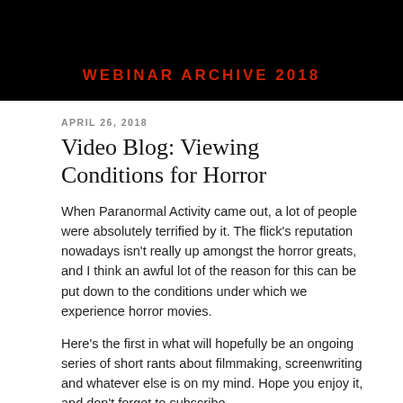[Figure (screenshot): Black banner image with text 'WEBINAR ARCHIVE 2018' in red bold uppercase letters, appears to be a website header or video thumbnail.]
APRIL 26, 2018
Video Blog: Viewing Conditions for Horror
When Paranormal Activity came out, a lot of people were absolutely terrified by it. The flick's reputation nowadays isn't really up amongst the horror greats, and I think an awful lot of the reason for this can be put down to the conditions under which we experience horror movies.
Here's the first in what will hopefully be an ongoing series of short rants about filmmaking, screenwriting and whatever else is on my mind. Hope you enjoy it, and don't forget to subscribe.